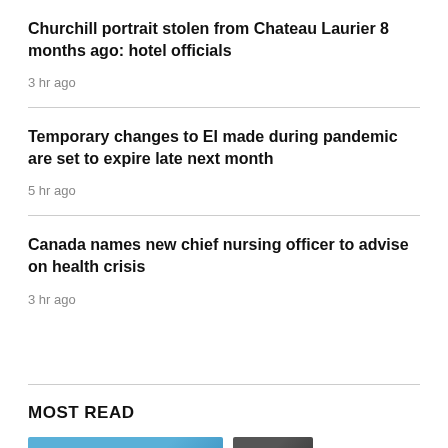Churchill portrait stolen from Chateau Laurier 8 months ago: hotel officials
3 hr ago
Temporary changes to EI made during pandemic are set to expire late next month
5 hr ago
Canada names new chief nursing officer to advise on health crisis
3 hr ago
MOST READ
[Figure (photo): Thumbnail image with blue sky background and a small figure, partially visible]
[Figure (photo): Dark thumbnail image, partially visible]